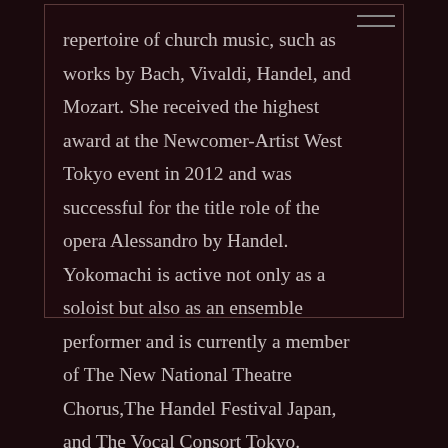repertoire of church music, such as works by Bach, Vivaldi, Handel, and Mozart. She received the highest award at the Newcomer-Artist West Tokyo event in 2012 and was successful for the title role of the opera Alessandro by Handel. Yokomachi is active not only as a soloist but also as an ensemble performer and is currently a member of The New National Theatre Chorus,The Handel Festival Japan, and The Vocal Consort Tokyo.